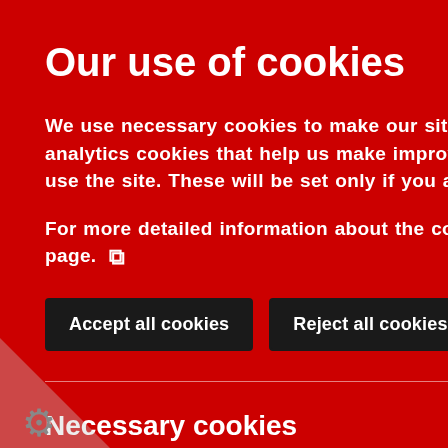Our use of cookies
We use necessary cookies to make our site work. We'd also like to set analytics cookies that help us make improvements by measuring how you use the site. These will be set only if you accept.
For more detailed information about the cookies we use, see our Cookies page.
Accept all cookies
Reject all cookies
Necessary cookies
Necessary cookies enable core functionality such as security, network management, and accessibility. You may disable these by